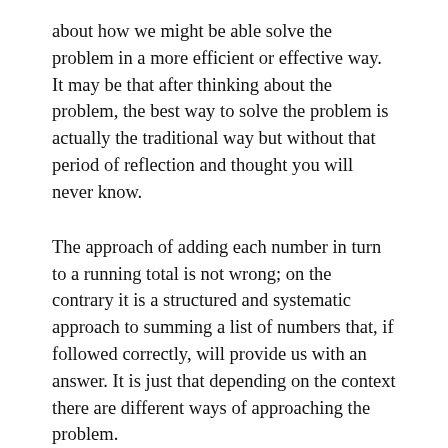about how we might be able solve the problem in a more efficient or effective way. It may be that after thinking about the problem, the best way to solve the problem is actually the traditional way but without that period of reflection and thought you will never know.
The approach of adding each number in turn to a running total is not wrong; on the contrary it is a structured and systematic approach to summing a list of numbers that, if followed correctly, will provide us with an answer. It is just that depending on the context there are different ways of approaching the problem.
Consider for a moment that instead of the teacher asking the class to sum the first 100 integers, the problem was to sum a list of 100 random numbers. In this case, Gauss's approach wouldn't have worked but by stopping and thinking about the problem rather than blindly going